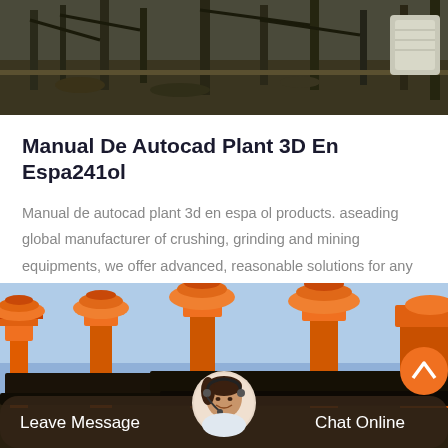[Figure (photo): Industrial/mining site with heavy equipment and structures, dark tones]
Manual De Autocad Plant 3D En Espa241ol
Manual de autocad plant 3d en espa ol products. aseading global manufacturer of crushing, grinding and mining equipments, we offer advanced, reasonable solutions for any sizereduction…
[Figure (photo): Large orange industrial crushing/mining machines against a blue sky background]
Leave Message
Chat Online